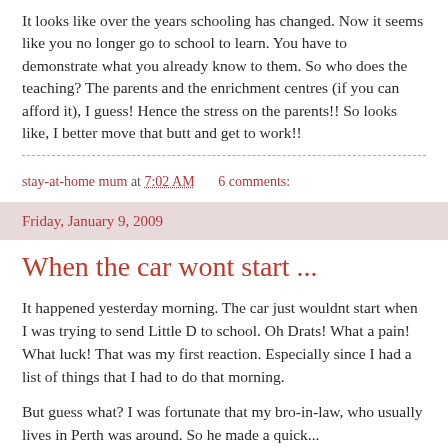It looks like over the years schooling has changed. Now it seems like you no longer go to school to learn. You have to demonstrate what you already know to them. So who does the teaching? The parents and the enrichment centres (if you can afford it), I guess! Hence the stress on the parents!! So looks like, I better move that butt and get to work!!
stay-at-home mum at 7:02 AM   6 comments:
Friday, January 9, 2009
When the car wont start ...
It happened yesterday morning. The car just wouldnt start when I was trying to send Little D to school. Oh Drats! What a pain! What luck! That was my first reaction. Especially since I had a list of things that I had to do that morning.
But guess what? I was fortunate that my bro-in-law, who usually lives in Perth was around. So he made a quick...